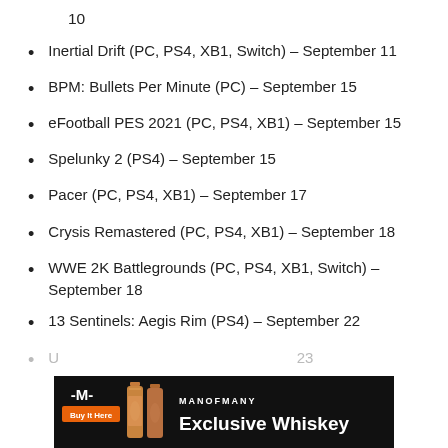10
Inertial Drift (PC, PS4, XB1, Switch) – September 11
BPM: Bullets Per Minute (PC) – September 15
eFootball PES 2021 (PC, PS4, XB1) – September 15
Spelunky 2 (PS4) – September 15
Pacer (PC, PS4, XB1) – September 17
Crysis Remastered (PC, PS4, XB1) – September 18
WWE 2K Battlegrounds (PC, PS4, XB1, Switch) – September 18
13 Sentinels: Aegis Rim (PS4) – September 22
[Figure (screenshot): Advertisement banner for Man of Many Exclusive Whiskey with orange Buy It Here button, bottle image, and white text on black background]
U... – September 23 (partially obscured by advertisement)